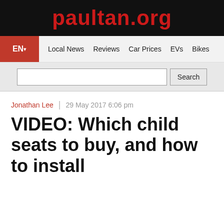paultan.org
EN | Local News | Reviews | Car Prices | EVs | Bikes
Jonathan Lee  |  29 May 2017 6:06 pm
VIDEO: Which child seats to buy, and how to install